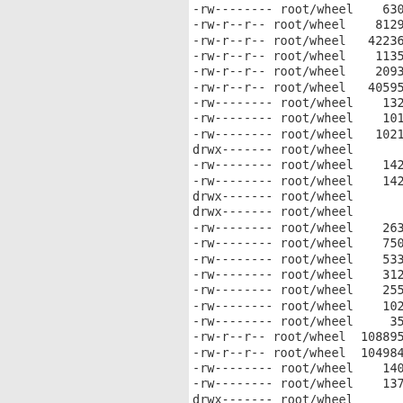-rw-------- root/wheel   6303 20...
-rw-r--r-- root/wheel   8129 20...
-rw-r--r-- root/wheel  42236 20...
-rw-r--r-- root/wheel   1135 20...
-rw-r--r-- root/wheel   2093 20...
-rw-r--r-- root/wheel  40595 20...
-rw-------- root/wheel   1323 20...
-rw-------- root/wheel   1011 20...
-rw-------- root/wheel  10212 20...
drwx------- root/wheel      0 20...
-rw-------- root/wheel   1422 20...
-rw-------- root/wheel   1422 20...
drwx------- root/wheel      0 20...
drwx------- root/wheel      0 20...
-rw-------- root/wheel   2639 20...
-rw-------- root/wheel   7506 20...
-rw-------- root/wheel   5338 20...
-rw-------- root/wheel   3127 20...
-rw-------- root/wheel   2552 20...
-rw-------- root/wheel   1026 20...
-rw-------- root/wheel    354 20...
-rw-r--r-- root/wheel 108895 20...
-rw-r--r-- root/wheel 104984 20...
-rw-------- root/wheel   1408 20...
-rw-------- root/wheel   1371 20...
drwx------- root/wheel      0 20...
drwx------- root/wheel      0 20...